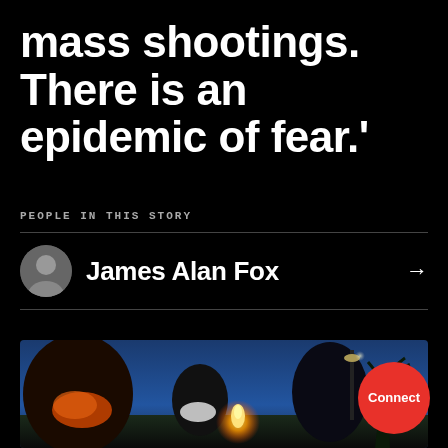mass shootings. There is an epidemic of fear.'
PEOPLE IN THIS STORY
James Alan Fox →
[Figure (photo): People wearing masks gathered outdoors at dusk, one holding a candle flame, palm trees and street lights visible in background blue sky.]
Connect